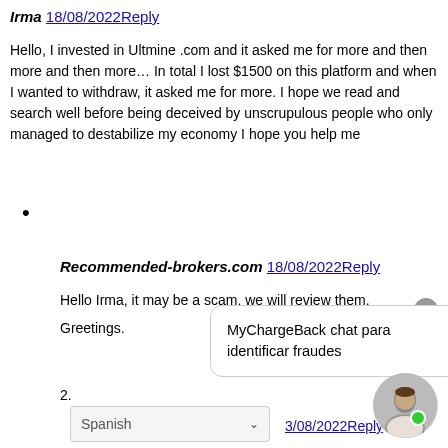Irma 18/08/2022Reply
Hello, I invested in Ultmine .com and it asked me for more and then more and then more… In total I lost $1500 on this platform and when I wanted to withdraw, it asked me for more. I hope we read and search well before being deceived by unscrupulous people who only managed to destabilize my economy I hope you help me
•
Recommended-brokers.com 18/08/2022Reply
Hello Irma, it may be a scam, we will review them.
Greetings.
[Figure (screenshot): Chat popup box with text: MyChargeBack chat para identificar fraudes]
2.
Spanish [dropdown] 3/08/2022Reply